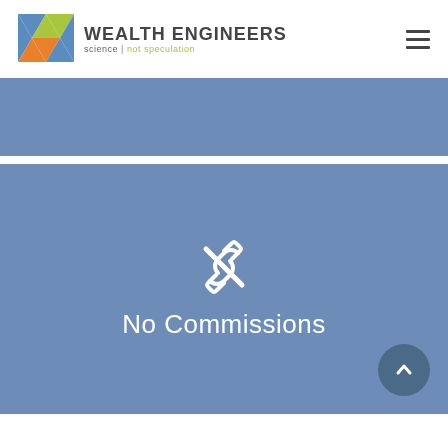[Figure (logo): Wealth Engineers logo with geometric diamond/X shape in blue, green, and orange, with text 'WEALTH ENGINEERS' and tagline 'science | not speculation']
[Figure (other): Blue banner/hero section placeholder]
[Figure (other): Blue section with broken link icon and text 'No Commissions', with a dark circular scroll-up button in the bottom right]
No Commissions